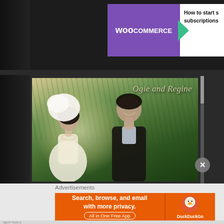[Figure (screenshot): WooCommerce advertisement banner with purple background and text 'How to start s... subscriptions e...']
[Figure (photo): Wedding photo of couple labeled 'Ogie and Regine' — woman in white dress with white feathered hat, man in dark suit, smiling at each other, tropical greenery background]
Advertisements
[Figure (screenshot): DuckDuckGo advertisement: 'Search, browse, and email with more privacy. All in One Free App' with DuckDuckGo duck logo on orange background]